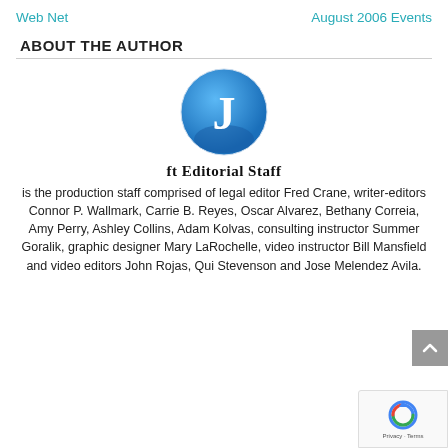Web Net    August 2006 Events
ABOUT THE AUTHOR
[Figure (illustration): Circular avatar icon with a blue gradient circle containing a white letter J]
ft Editorial Staff is the production staff comprised of legal editor Fred Crane, writer-editors Connor P. Wallmark, Carrie B. Reyes, Oscar Alvarez, Bethany Correia, Amy Perry, Ashley Collins, Adam Kolvas, consulting instructor Summer Goralik, graphic designer Mary LaRochelle, video instructor Bill Mansfield and video editors John Rojas, Qui Stevenson and Jose Melendez Avila.